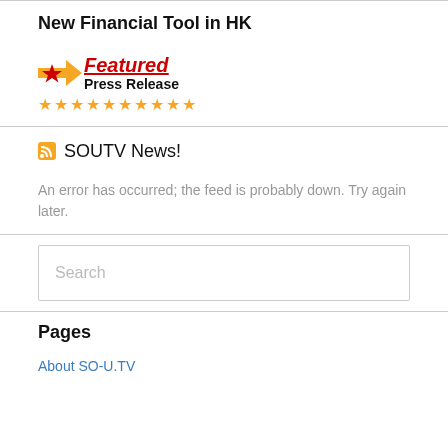New Financial Tool in HK
[Figure (logo): Featured Press Release logo with orange arrow/star graphic, red italic 'Featured' text underlined, 'Press Release' in bold, and 10 gold stars below]
SOUTV News!
An error has occurred; the feed is probably down. Try again later.
Search
Pages
About SO-U.TV